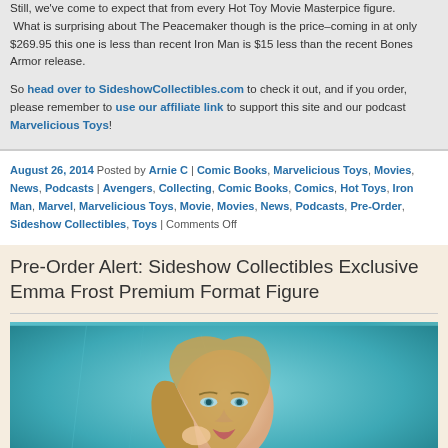Still, we've come to expect that from every Hot Toy Movie Masterpice figure. What is surprising about The Peacemaker though is the price–coming in at only $269.95 this one is less than recent Iron Man is $15 less than the recent Bones Armor release.
So head over to SideshowCollectibles.com to check it out, and if you order please remember to use our affiliate link to support this site and our podcast Marvelicious Toys!
August 26, 2014 Posted by Arnie C | Comic Books, Marvelicious Toys, Movies, News, Podcasts | Avengers, Collecting, Comic Books, Comics, Hot Toys, Iron Man, Marvel, Marvelicious Toys, Movie, Movies, News, Podcasts, Pre-Order, Sideshow Collectibles, Toys | Comments Off
Pre-Order Alert: Sideshow Collectibles Exclusive Emma Frost Premium Format Figure
[Figure (photo): Emma Frost Premium Format Figure from Sideshow Collectibles — a female figure with blonde hair against a teal/ice background]